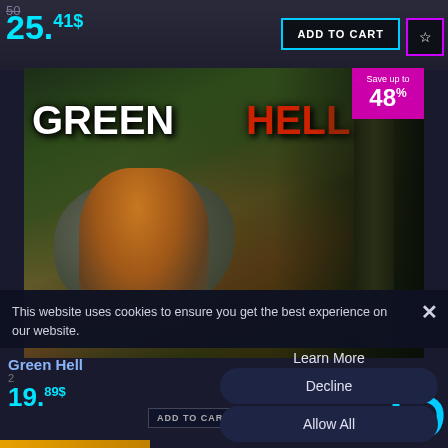50...
25.41$
ADD TO CART
[Figure (screenshot): Green Hell game promotional image showing a man crawling through a jungle environment. The game logo 'GREEN HELL' is shown with GREEN in white distressed text and HELL in red distressed text. A magenta badge in top right shows 'Save up to 48%'.]
Save up to 48%
This website uses cookies to ensure you get the best experience on our website.
Green Hell
Learn More
Decline
Allow All
2
19.89$
ADD TO CART